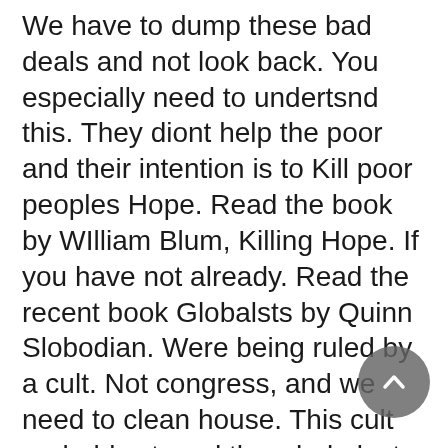We have to dump these bad deals and not look back. You especially need to undertsnd this. They diont help the poor and their intention is to Kill poor peoples Hope. Read the book by WIlliam Blum, Killing Hope. If you have not already. Read the recent book Globalsts by Quinn Slobodian. Were being ruled by a cult. Not congress, and we need to clean house. This cult probably staged the whole last few decades.. Including Trump. Youre being manipulated. The WTO rules block all the progressive policy. Youre all being taken for fools. Led into what is basically a trap, with one way ratchet traps..Sorry but it had to be said. Learn about the brick wall we are banging our heads against from my links, you could do that. Fast. . Tear it down. Dont try to negotiate with it. The politicians no longer have the power to change anything the duta GATS. Dereindicle did GATS. Dont...